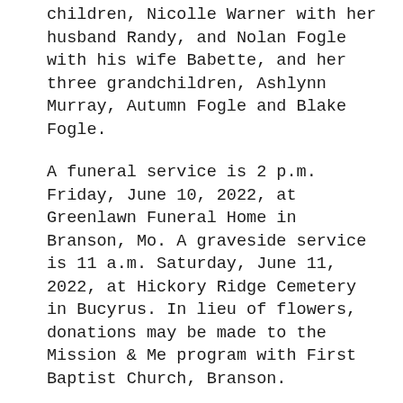children, Nicolle Warner with her husband Randy, and Nolan Fogle with his wife Babette, and her three grandchildren, Ashlynn Murray, Autumn Fogle and Blake Fogle.
A funeral service is 2 p.m. Friday, June 10, 2022, at Greenlawn Funeral Home in Branson, Mo. A graveside service is 11 a.m. Saturday, June 11, 2022, at Hickory Ridge Cemetery in Bucyrus. In lieu of flowers, donations may be made to the Mission & Me program with First Baptist Church, Branson.
To leave an online condolence, visit the website at www.greenlawnfuneralhome.com.